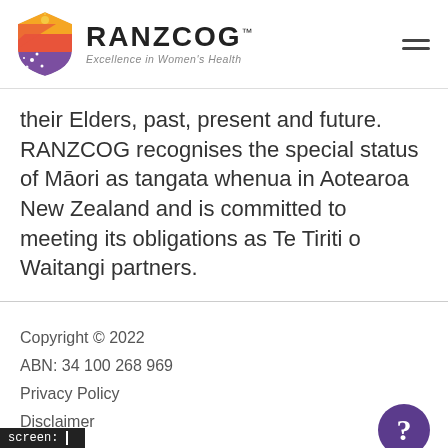RANZCOG — Excellence in Women's Health
their Elders, past, present and future. RANZCOG recognises the special status of Māori as tangata whenua in Aotearoa New Zealand and is committed to meeting its obligations as Te Tiriti o Waitangi partners.
Copyright © 2022
ABN: 34 100 268 969
Privacy Policy
Disclaimer